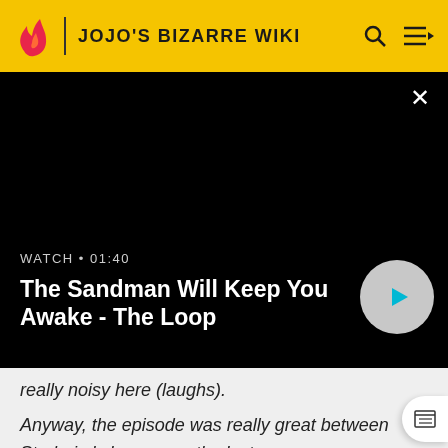JOJO'S BIZARRE WIKI
[Figure (screenshot): Black video player area with close X button, watch label, video title, and play button]
WATCH • 01:40
The Sandman Will Keep You Awake - The Loop
really noisy here (laughs).
Anyway, the episode was really great between Stroheim's bravery or the last sunray vanquishing Santana in the well, such great moments. The